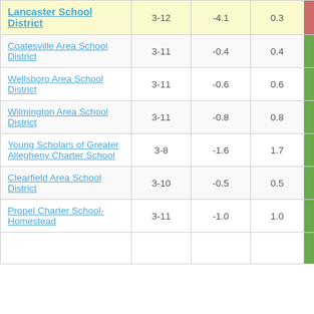| School/District | Grades | Col3 | Col4 | Score |
| --- | --- | --- | --- | --- |
| Lancaster School District | 3-12 | -4.1 | 0.3 | -14.65 |
| Coatesville Area School District | 3-11 | -0.4 | 0.4 | -0.91 |
| Wellsboro Area School District | 3-11 | -0.6 | 0.6 | -0.91 |
| Wilmington Area School District | 3-11 | -0.8 | 0.8 | -0.91 |
| Young Scholars of Greater Allegheny Charter School | 3-8 | -1.6 | 1.7 | -0.93 |
| Clearfield Area School District | 3-10 | -0.5 | 0.5 | -0.97 |
| Propel Charter School-Homestead | 3-11 | -1.0 | 1.0 | -0.97 |
| (partial) |  |  |  |  |